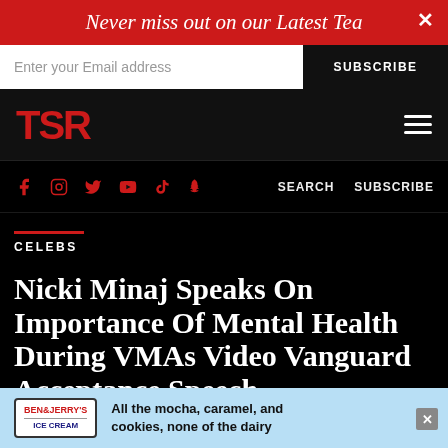Never miss out on our Latest Tea
Enter your Email address
SUBSCRIBE
[Figure (logo): TSR logo in red on black navigation bar with hamburger menu icon]
f  Instagram  Twitter  YouTube  TikTok  Snapchat  SEARCH  SUBSCRIBE
CELEBS
Nicki Minaj Speaks On Importance Of Mental Health During VMAs Video Vanguard Acceptance Speech
[Figure (illustration): Ben & Jerry's advertisement banner at the bottom of the page with text: All the mocha, caramel, and cookies, none of the dairy]